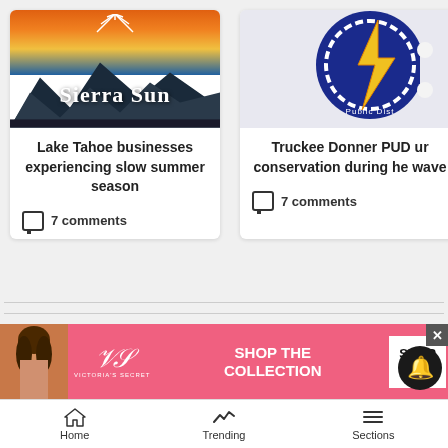[Figure (screenshot): Sierra Sun article card with mountain sunset image and text: Lake Tahoe businesses experiencing slow summer season, 7 comments]
[Figure (screenshot): Truckee Donner PUD article card with lightning bolt logo image and text: Truckee Donner PUD urges conservation during heat wave, 7 comments]
According to Toys for Tots, the best donations are sporting games, board games
[Figure (screenshot): Victoria's Secret advertisement banner: SHOP THE COLLECTION, SHOP NOW button]
[Figure (screenshot): Bottom navigation bar with Home, Trending, Sections icons]